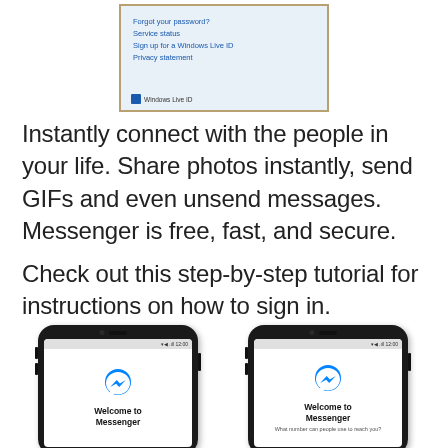[Figure (screenshot): Windows Live ID login page screenshot showing links: Forgot your password?, Service status, Sign up for a Windows Live ID, Privacy statement, and the Windows Live ID logo at the bottom]
Instantly connect with the people in your life. Share photos instantly, send GIFs and even unsend messages. Messenger is free, fast, and secure.
Check out this step-by-step tutorial for instructions on how to sign in.
[Figure (screenshot): Two Android phone mockups showing Facebook Messenger app. Left phone: Welcome to Messenger screen with Messenger logo. Right phone: Welcome to Messenger screen with subtitle 'What number can people use to reach you?']